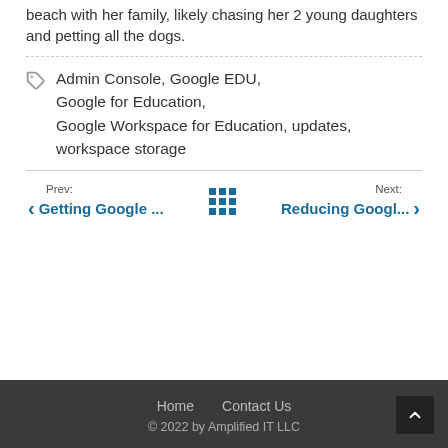beach with her family, likely chasing her 2 young daughters and petting all the dogs.
Admin Console, Google EDU, Google for Education, Google Workspace for Education, updates, workspace storage
Prev: Getting Google ... | Next: Reducing Googl...
Home   Contact Us
© 2022 by Amplified IT LLC